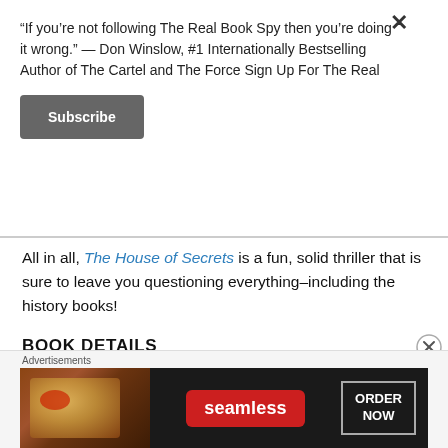“If you’re not following The Real Book Spy then you’re doing it wrong.” — Don Winslow, #1 Internationally Bestselling Author of The Cartel and The Force Sign Up For The Real
Subscribe
All in all, The House of Secrets is a fun, solid thriller that is sure to leave you questioning everything–including the history books!
BOOK DETAILS
Author: Brad Meltzer
Advertisements
[Figure (other): Seamless food delivery advertisement banner showing pizza image on left, Seamless logo in red pill center, and ORDER NOW text in bordered box on right, dark background]